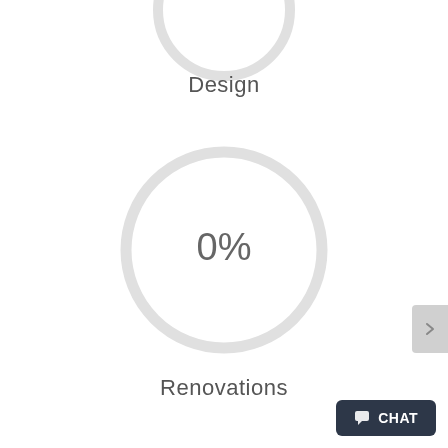[Figure (donut-chart): Design]
Design
[Figure (donut-chart): Renovations]
Renovations